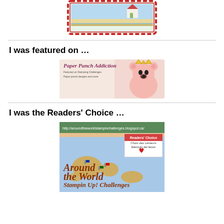[Figure (illustration): Decorative badge/stamp image with a coastal scene, red scalloped border, small house and water illustration]
I was featured on …
[Figure (illustration): Paper Punch Addiction blog banner with a pink bear character wearing a crown]
I was the Readers' Choice …
[Figure (illustration): Around the World Stampin Up! Challenges badge showing a world map with flags and Readers Choice/Choix des Lecteurs text]